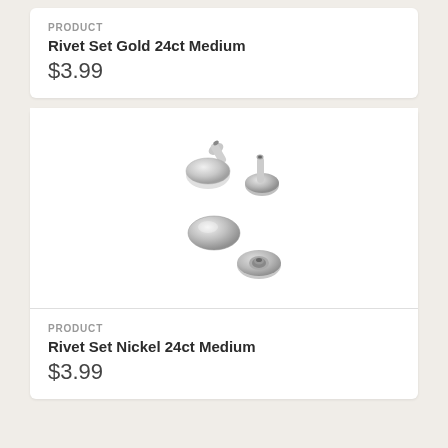PRODUCT
Rivet Set Gold 24ct Medium
$3.99
[Figure (photo): Four silver metal rivets (two caps and two posts) arranged on a white background]
PRODUCT
Rivet Set Nickel 24ct Medium
$3.99